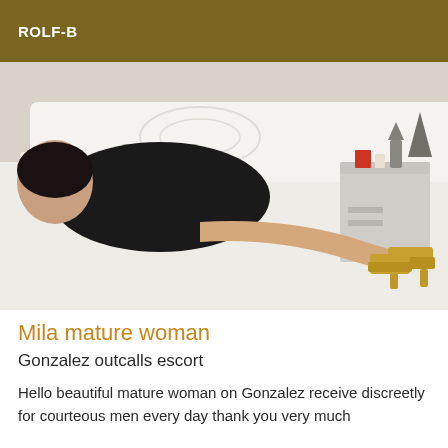ROLF-B
[Figure (photo): A woman lying on a white bed wearing a black dress and gold high-heeled shoes. A white ornate headboard and a bedside table with items are visible in the background.]
Mila mature woman
Gonzalez outcalls escort
Hello beautiful mature woman on Gonzalez receive discreetly for courteous men every day thank you very much